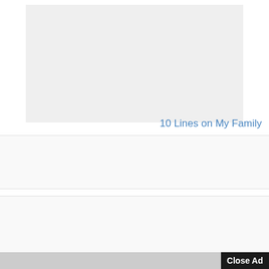10 Lines on My Family
[Figure (other): Advertisement block 1 - empty gray rectangle]
[Figure (other): Advertisement block 2 - empty gray rectangle]
Close Ad